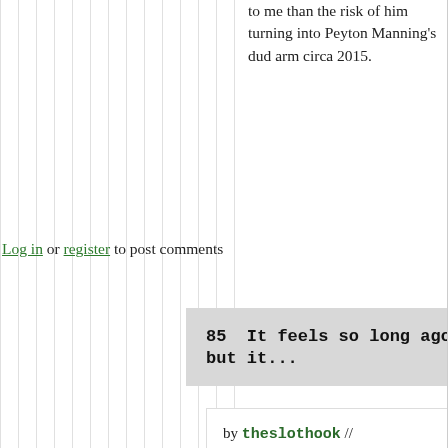to me than the risk of him turning into Peyton Manning's dud arm circa 2015.
Log in or register to post comments
85  It feels so long ago, but it...
by theslothook // May 11, 2022 - 6:35pm
It feels so long ago, but it's important to remember Peyton